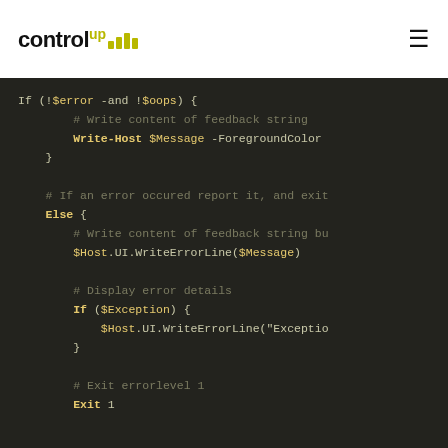ControlUp [logo]
[Figure (screenshot): PowerShell code block on dark background showing conditional logic with if/else statements, error handling using $Host.UI.WriteErrorLine, and Exit 1 command]